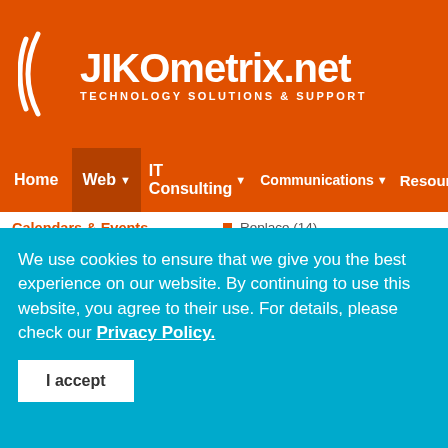JIKOmetrix.net — Technology Solutions & Support
Calendars & Events
Events (117)
Time (46)
Clients & Communities
Communities (23)
Replace (14)
Extension Specific
AdsManager extensions (22)
CiviCRM extensions (10)
Community Builder extensions (1...)
ContentBuilder extensions (5)
We use cookies to ensure that we give you the best experience on our website. By continuing to use this website, you agree to their use. For details, please check our Privacy Policy.
I accept